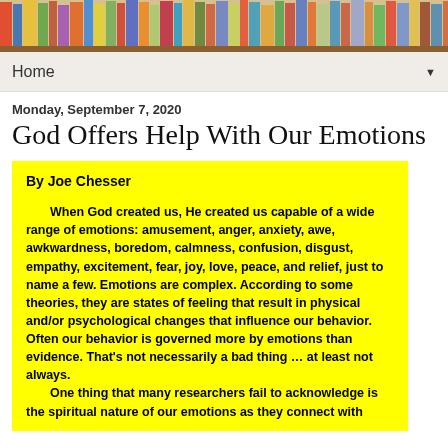[Figure (photo): Bookshelf header image with colorful books on wooden shelves]
Home ▼
Monday, September 7, 2020
God Offers Help With Our Emotions
By Joe Chesser
When God created us, He created us capable of a wide range of emotions: amusement, anger, anxiety, awe, awkwardness, boredom, calmness, confusion, disgust, empathy, excitement, fear, joy, love, peace, and relief, just to name a few. Emotions are complex. According to some theories, they are states of feeling that result in physical and/or psychological changes that influence our behavior. Often our behavior is governed more by emotions than evidence. That's not necessarily a bad thing … at least not always.
    One thing that many researchers fail to acknowledge is the spiritual nature of our emotions as they connect with